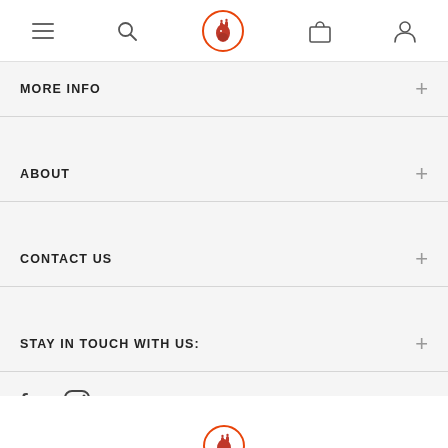Navigation bar with hamburger menu, search, giraffe logo, bag, and user icons
MORE INFO
ABOUT
CONTACT US
STAY IN TOUCH WITH US:
Facebook and Instagram social media icons
[Figure (logo): Partial giraffe logo visible at bottom center]